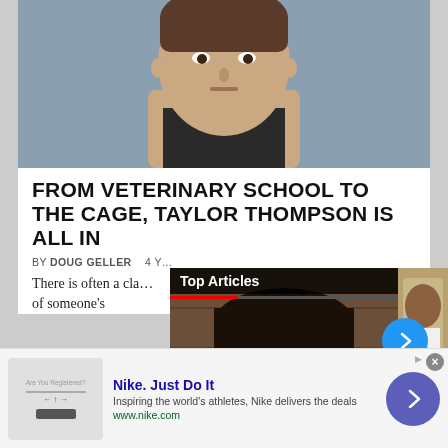[Figure (photo): Close-up portrait of a young person in a dark tank top against a gray-blue background]
FROM VETERINARY SCHOOL TO THE CAGE, TAYLOR THOMPSON IS ALL IN
BY DOUG GELLER   4 Y...
There is often a clash... of someone's
[Figure (screenshot): Video overlay showing a man's face with 'Top Articles' label, pause and mute controls, and caption 'MMA fighter who testified in']
[Figure (photo): Person in white shirt and tie partially visible on right side]
Nike. Just Do It
Inspiring the world's athletes, Nike delivers the deals
www.nike.com